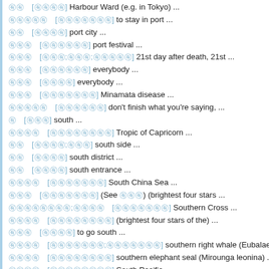㊒　[㊒㊒㊒㊒] Harbour Ward (e.g. in Tokyo) ...
㊒㊒㊒㊒㊒　[㊒㊒㊒㊒㊒㊒㊒] to stay in port ...
㊒㊒　[㊒㊒㊒㊒] port city ...
㊒㊒㊒　[㊒㊒㊒㊒㊒㊒] port festival ...
㊒㊒㊒　[㊒㊒㊒㊒;㊒㊒㊒;㊒㊒㊒㊒㊒] 21st day after death, 21st ...
㊒㊒㊒　[㊒㊒㊒㊒㊒㊒] everybody ...
㊒㊒㊒　[㊒㊒㊒㊒] everybody ...
㊒㊒㊒　[㊒㊒㊒㊒㊒㊒㊒] Minamata disease ...
㊒㊒㊒㊒㊒　[㊒㊒㊒㊒㊒㊒] don't finish what you're saying, ...
㊒　[㊒㊒㊒] south ...
㊒㊒㊒㊒　[㊒㊒㊒㊒㊒㊒㊒㊒] Tropic of Capricorn ...
㊒㊒　[㊒㊒㊒㊒;㊒㊒㊒] south side ...
㊒㊒　[㊒㊒㊒㊒] south district ...
㊒㊒　[㊒㊒㊒㊒] south entrance ...
㊒㊒㊒㊒　[㊒㊒㊒㊒㊒㊒㊒] South China Sea ...
㊒㊒㊒　[㊒㊒㊒㊒㊒㊒㊒] (See ㊒㊒㊒) (brightest four stars ...
㊒㊒㊒㊒㊒㊒㊒㊒;㊒㊒㊒㊒　[㊒㊒㊒㊒㊒㊒㊒] Southern Cross ...
㊒㊒㊒㊒　[㊒㊒㊒㊒㊒㊒㊒㊒] (brightest four stars of the) ...
㊒㊒㊒　[㊒㊒㊒㊒] to go south ...
㊒㊒㊒㊒　[㊒㊒㊒㊒㊒㊒㊒;㊒㊒㊒㊒㊒㊒㊒] southern right whale (Eubalaena austra...
㊒㊒㊒㊒　[㊒㊒㊒㊒㊒㊒㊒㊒] southern elephant seal (Mirounga leonina) ...
㊒㊒㊒㊒　[㊒㊒㊒㊒㊒㊒㊒㊒] South Pacific ...
㊒㊒㊒　[㊒㊒㊒㊒㊒㊒㊒;㊒㊒㊒㊒㊒㊒㊒] Arnoux's beaked whale (Berardius arnu...
㊒㊒;㊒㊒㊒　[㊒㊒㊒㊒㊒] Ladies and Gentlemen!, all of ...
㊒㊒㊒　[㊒㊒㊒㊒㊒㊒㊒] southern hemisphere